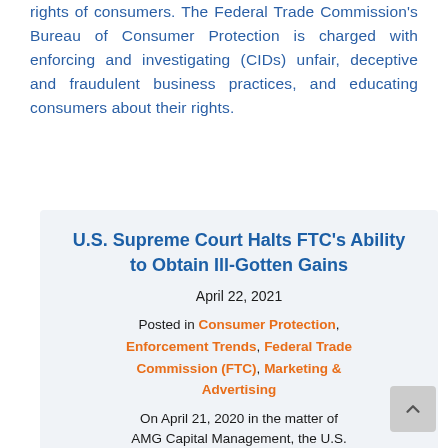rights of consumers. The Federal Trade Commission's Bureau of Consumer Protection is charged with enforcing and investigating (CIDs) unfair, deceptive and fraudulent business practices, and educating consumers about their rights.
U.S. Supreme Court Halts FTC's Ability to Obtain Ill-Gotten Gains
April 22, 2021
Posted in Consumer Protection, Enforcement Trends, Federal Trade Commission (FTC), Marketing & Advertising
On April 21, 2020 in the matter of AMG Capital Management, the U.S.